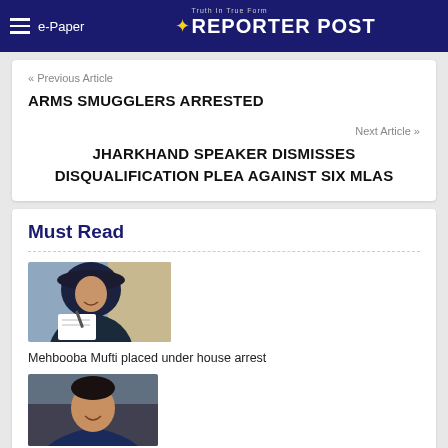e-Paper | REPORTER POST
« Previous Article
ARMS SMUGGLERS ARRESTED
Next Article »
JHARKHAND SPEAKER DISMISSES DISQUALIFICATION PLEA AGAINST SIX MLAS
Must Read
[Figure (photo): Photo of Mehbooba Mufti, a woman wearing a dark hijab and coat, writing or signing something]
Mehbooba Mufti placed under house arrest
[Figure (photo): Photo of a man in a dark blue outfit, smiling, partially visible]